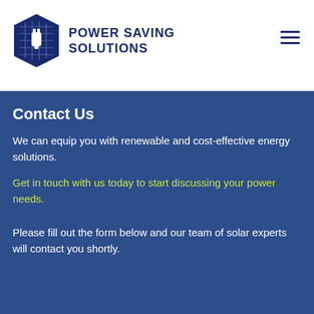POWER SAVING SOLUTIONS
Contact Us
We can equip you with renewable and cost-effective energy solutions.
Get in touch with us today to start discussing your power needs.
Please fill out the form below and our team of solar experts will contact you shortly.